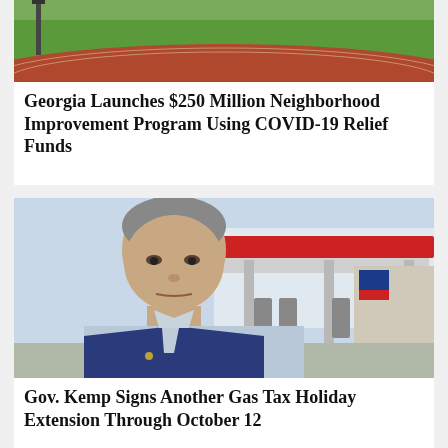[Figure (photo): Aerial or ground-level photo showing green grass area and red running track surface]
Georgia Launches $250 Million Neighborhood Improvement Program Using COVID-19 Relief Funds
[Figure (photo): Governor Brian Kemp standing in front of a gas station with a serious expression, wearing a blue blazer]
Gov. Kemp Signs Another Gas Tax Holiday Extension Through October 12